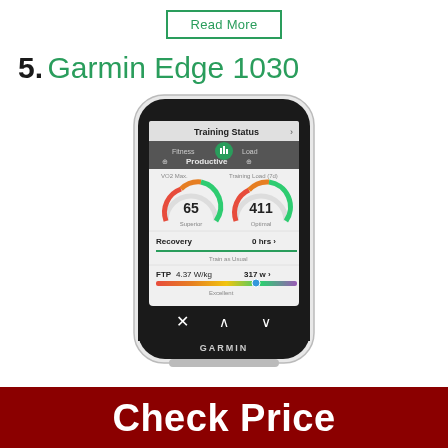Read More
5. Garmin Edge 1030
[Figure (photo): Garmin Edge 1030 cycling GPS computer showing Training Status screen with VO2 Max of 65 (Superior), Training Load of 411 (Optimal), Recovery 0 hrs, FTP 4.37 W/kg 317W, Productive status]
Check Price